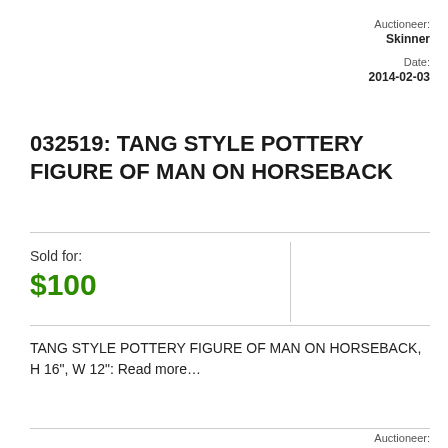Auctioneer:
Skinner
Date:
2014-02-03
032519: TANG STYLE POTTERY FIGURE OF MAN ON HORSEBACK
Sold for:
$100
TANG STYLE POTTERY FIGURE OF MAN ON HORSEBACK, H 16", W 12": Read more…
Auctioneer: